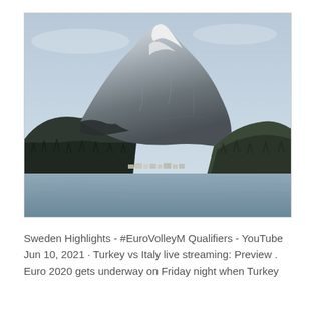[Figure (photo): Photograph of a snow-capped rocky mountain with dark forested lower slopes and a frozen or calm lake/river in the foreground, under a pale blue-grey sky.]
Sweden Highlights - #EuroVolleyM Qualifiers - YouTube
Jun 10, 2021 · Turkey vs Italy live streaming: Preview .
Euro 2020 gets underway on Friday night when Turkey